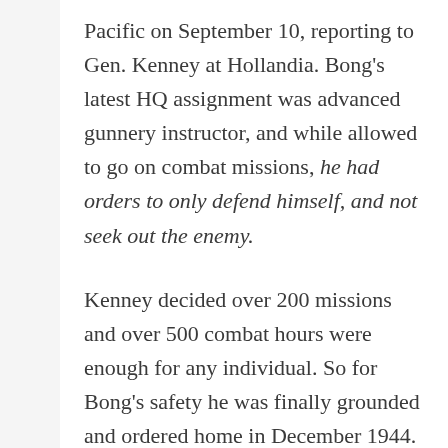Pacific on September 10, reporting to Gen. Kenney at Hollandia. Bong's latest HQ assignment was advanced gunnery instructor, and while allowed to go on combat missions, he had orders to only defend himself, and not seek out the enemy.

Kenney decided over 200 missions and over 500 combat hours were enough for any individual. So for Bong's safety he was finally grounded and ordered home in December 1944. General Kenney (his overall CO) later wrote Major Bong's